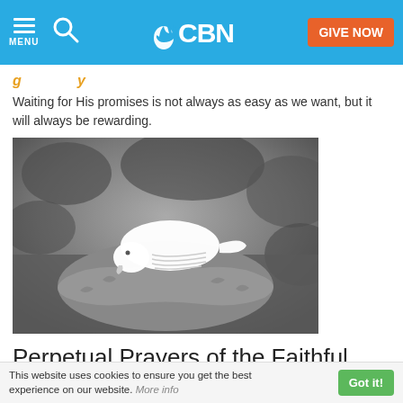CBN - MENU | Search | GIVE NOW
Waiting for His promises is not always as easy as we want, but it will always be rewarding.
Waiting for His promises is not always as easy as we want, but it will always be rewarding.
[Figure (photo): Black and white photograph of a white dove or bird sculpture perched on a stone or rock surface, with blurred foliage in the background.]
Perpetual Prayers of the Faithful
This website uses cookies to ensure you get the best experience on our website. More info